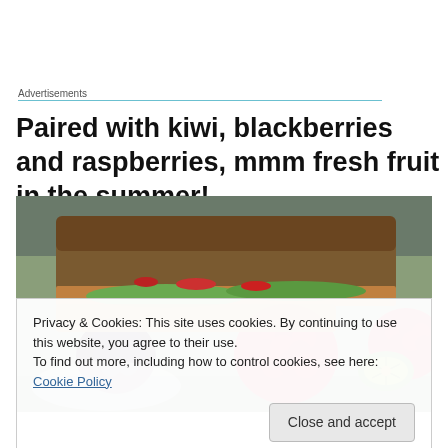Advertisements
Paired with kiwi, blackberries and raspberries, mmm fresh fruit in the summer!
[Figure (photo): A plate with a sandwich/burger topped with lettuce and tomatoes, alongside fresh raspberries, blackberries, and kiwi fruit slices]
Privacy & Cookies: This site uses cookies. By continuing to use this website, you agree to their use.
To find out more, including how to control cookies, see here: Cookie Policy
[Close and accept button]